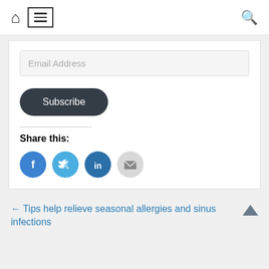Navigation bar with home icon, menu (hamburger), and search icon
Email Address
Subscribe
Share this:
[Figure (infographic): Social share icons: Facebook (blue circle with f), Twitter (blue circle with bird), LinkedIn (dark blue circle with in), Email (grey circle with envelope)]
← Tips help relieve seasonal allergies and sinus infections